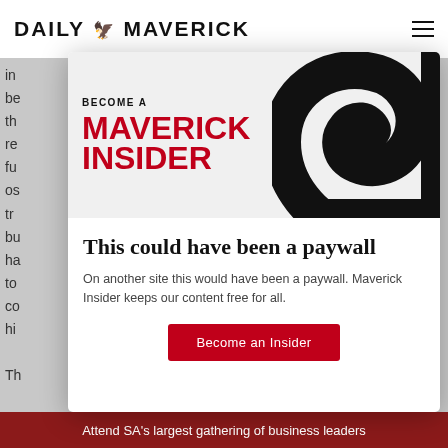DAILY MAVERICK
[Figure (logo): Daily Maverick website screenshot showing a modal paywall prompt with Maverick Insider branding, a spiral/swirl graphic, and a call-to-action button.]
This could have been a paywall
On another site this would have been a paywall. Maverick Insider keeps our content free for all.
Become an Insider
Attend SA's largest gathering of business leaders